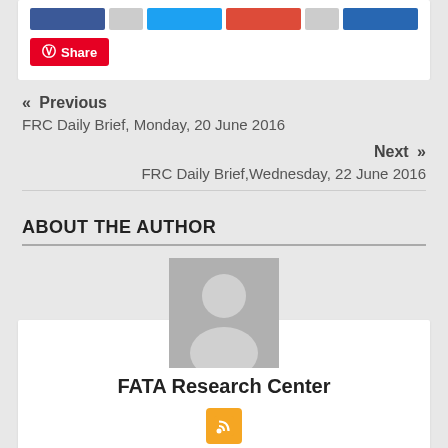[Figure (other): Social share buttons row: Facebook, blank count, Twitter, Google+, blank count, LinkedIn buttons]
[Figure (other): Pinterest Share button in red]
« Previous
FRC Daily Brief, Monday, 20 June 2016
Next »
FRC Daily Brief,Wednesday, 22 June 2016
ABOUT THE AUTHOR
[Figure (photo): Generic user avatar placeholder – grey silhouette on grey background]
FATA Research Center
[Figure (other): RSS feed icon button (orange square)]